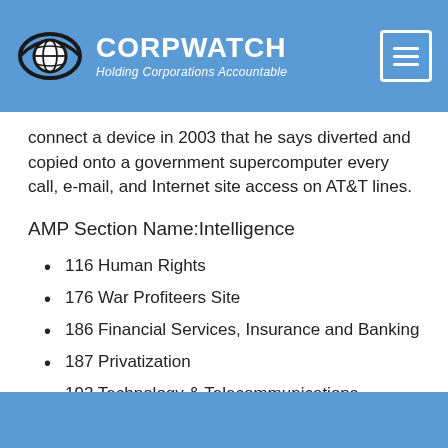CORPWATCH — Holding Corporations Accountable
connect a device in 2003 that he says diverted and copied onto a government supercomputer every call, e-mail, and Internet site access on AT&T lines.
AMP Section Name:Intelligence
116 Human Rights
176 War Profiteers Site
186 Financial Services, Insurance and Banking
187 Privatization
192 Technology & Telecommunications